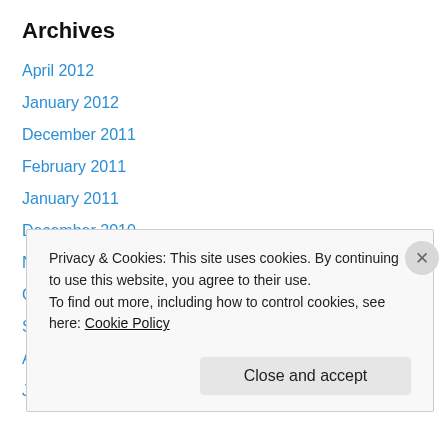Archives
April 2012
January 2012
December 2011
February 2011
January 2011
December 2010
November 2010
October 2010
September 2010
August 2010
July 2010
Privacy & Cookies: This site uses cookies. By continuing to use this website, you agree to their use.
To find out more, including how to control cookies, see here: Cookie Policy
Close and accept